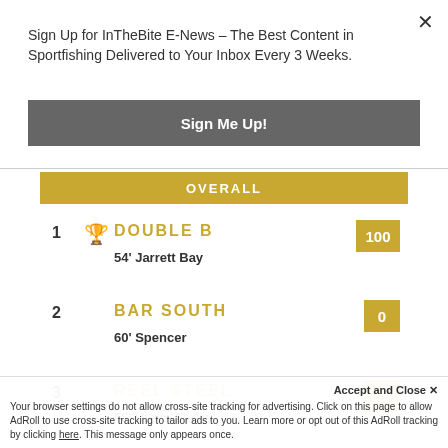Sign Up for InTheBite E-News – The Best Content in Sportfishing Delivered to Your Inbox Every 3 Weeks.
Sign Me Up!
OVERALL
1  🏆 DOUBLE B  100
54' Jarrett Bay
2  BAR SOUTH  0
60' Spencer
3  REEL STEEL  0
66' Hines-Farley
Accept and Close ×
Your browser settings do not allow cross-site tracking for advertising. Click on this page to allow AdRoll to use cross-site tracking to tailor ads to you. Learn more or opt out of this AdRoll tracking by clicking here. This message only appears once.